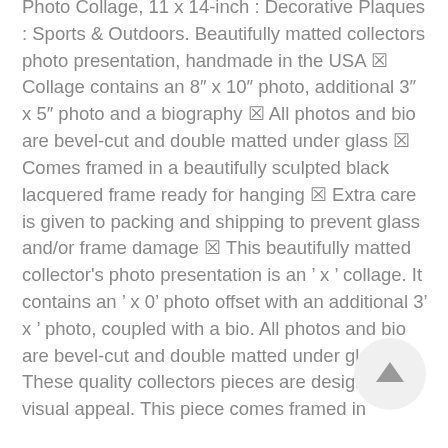Photo Collage, 11 x 14-inch : Decorative Plaques : Sports & Outdoors. Beautifully matted collectors photo presentation, handmade in the USA ☑ Collage contains an 8" x 10" photo, additional 3" x 5" photo and a biography ☑ All photos and bio are bevel-cut and double matted under glass ☑ Comes framed in a beautifully sculpted black lacquered frame ready for hanging ☑ Extra care is given to packing and shipping to prevent glass and/or frame damage ☑ This beautifully matted collector's photo presentation is an * x * collage. It contains an * x 0* photo offset with an additional 3* x * photo, coupled with a bio. All photos and bio are bevel-cut and double matted under glass. These quality collectors pieces are designed for visual appeal. This piece comes framed in